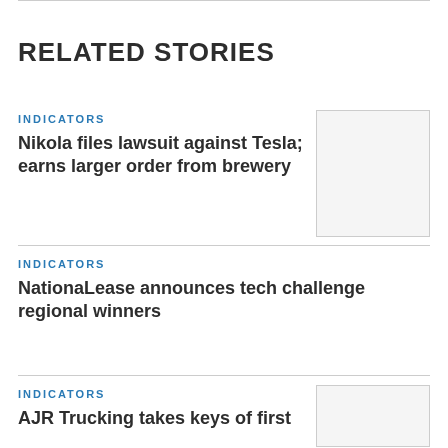RELATED STORIES
INDICATORS
Nikola files lawsuit against Tesla; earns larger order from brewery
[Figure (photo): Thumbnail image placeholder for Nikola story]
INDICATORS
NationaLease announces tech challenge regional winners
INDICATORS
AJR Trucking takes keys of first